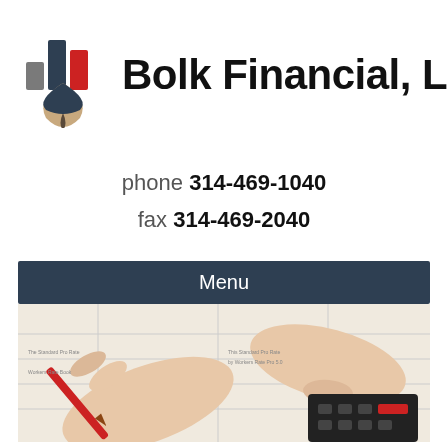[Figure (logo): Bolk Financial LLC logo: stylized bar chart with pencil icon in dark navy, gray, and red colors]
Bolk Financial, LLC
phone 314-469-1040
fax 314-469-2040
Menu
[Figure (photo): Hands writing with a red pencil on financial documents with a calculator visible]